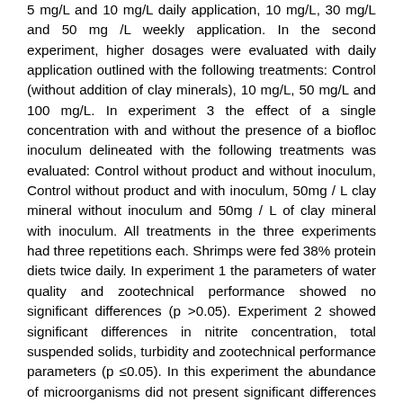5 mg/L and 10 mg/L daily application, 10 mg/L, 30 mg/L and 50 mg /L weekly application. In the second experiment, higher dosages were evaluated with daily application outlined with the following treatments: Control (without addition of clay minerals), 10 mg/L, 50 mg/L and 100 mg/L. In experiment 3 the effect of a single concentration with and without the presence of a biofloc inoculum delineated with the following treatments was evaluated: Control without product and without inoculum, Control without product and with inoculum, 50mg / L clay mineral without inoculum and 50mg / L of clay mineral with inoculum. All treatments in the three experiments had three repetitions each. Shrimps were fed 38% protein diets twice daily. In experiment 1 the parameters of water quality and zootechnical performance showed no significant differences (p >0.05). Experiment 2 showed significant differences in nitrite concentration, total suspended solids, turbidity and zootechnical performance parameters (p ≤0.05). In this experiment the abundance of microorganisms did not present significant differences between treatments. In the third experiment there were significant differences (p ≤0.05) in the parameters of ammonia and nitrite. The addition of clay mineral did not influence the abundance in the microbial community